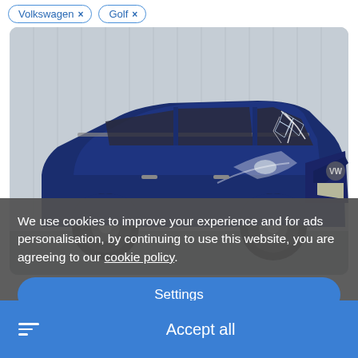Volkswagen ×
Golf ×
[Figure (photo): A blue Volkswagen Golf estate/wagon with visible front-end damage and cracked windscreen, photographed against a corrugated metal wall background.]
We use cookies to improve your experience and for ads personalisation, by continuing to use this website, you are agreeing to our cookie policy.
Settings
Accept all